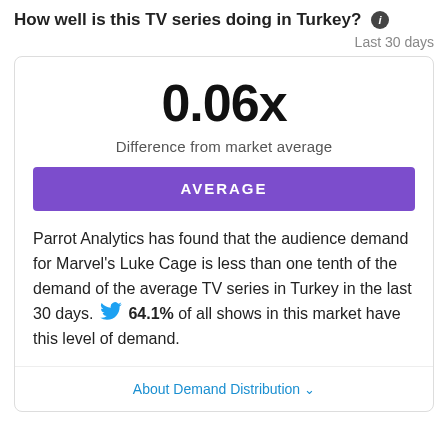How well is this TV series doing in Turkey?
Last 30 days
0.06x
Difference from market average
AVERAGE
Parrot Analytics has found that the audience demand for Marvel's Luke Cage is less than one tenth of the demand of the average TV series in Turkey in the last 30 days. 64.1% of all shows in this market have this level of demand.
About Demand Distribution